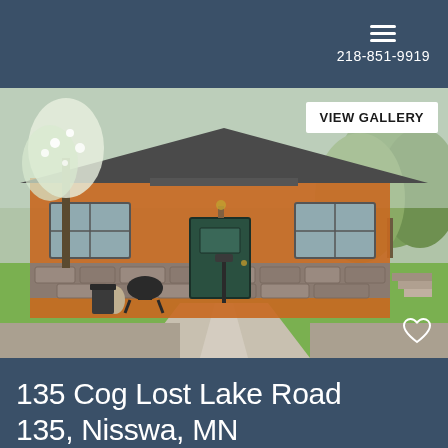218-851-9919
[Figure (photo): Exterior photo of a single-story house with orange/brown wood siding, stone foundation, dark green front door, lamp post, concrete driveway, and surrounding trees and lawn. A 'VIEW GALLERY' button overlay and a heart icon are visible on the photo.]
135 Cog Lost Lake Road 135, Nisswa, MN